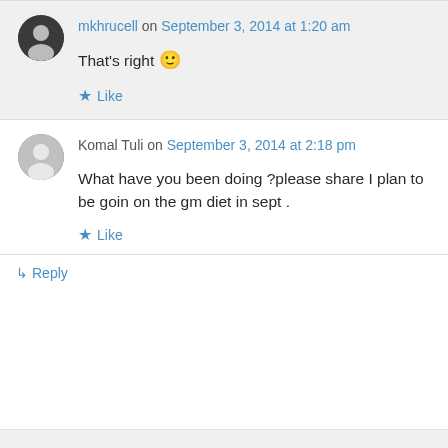mkhrucell on September 3, 2014 at 1:20 am
That's right 🙂
Like
Komal Tuli on September 3, 2014 at 2:18 pm
What have you been doing ?please share I plan to be goin on the gm diet in sept .
Like
Reply